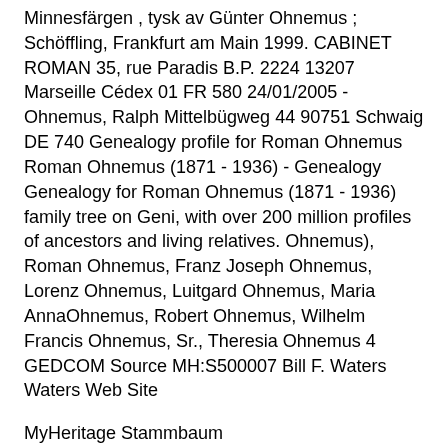Minnesfärgen , tysk av Günter Ohnemus ; Schöffling, Frankfurt am Main 1999. CABINET ROMAN 35, rue Paradis B.P. 2224 13207 Marseille Cédex 01 FR 580 24/01/2005 - Ohnemus, Ralph Mittelbügweg 44 90751 Schwaig DE 740 Genealogy profile for Roman Ohnemus Roman Ohnemus (1871 - 1936) - Genealogy Genealogy for Roman Ohnemus (1871 - 1936) family tree on Geni, with over 200 million profiles of ancestors and living relatives. Ohnemus), Roman Ohnemus, Franz Joseph Ohnemus, Lorenz Ohnemus, Luitgard Ohnemus, Maria AnnaOhnemus, Robert Ohnemus, Wilhelm Francis Ohnemus, Sr., Theresia Ohnemus 4 GEDCOM Source MH:S500007 Bill F. Waters Waters Web Site
MyHeritage Stammbaum